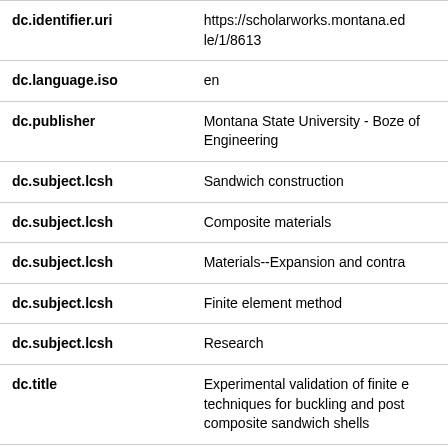| Field | Value |
| --- | --- |
| dc.identifier.uri | https://scholarworks.montana.edu/le/1/8613 |
| dc.language.iso | en |
| dc.publisher | Montana State University - Boze of Engineering |
| dc.subject.lcsh | Sandwich construction |
| dc.subject.lcsh | Composite materials |
| dc.subject.lcsh | Materials--Expansion and contra |
| dc.subject.lcsh | Finite element method |
| dc.subject.lcsh | Research |
| dc.title | Experimental validation of finite e techniques for buckling and post composite sandwich shells |
| dc.type | Thesis |